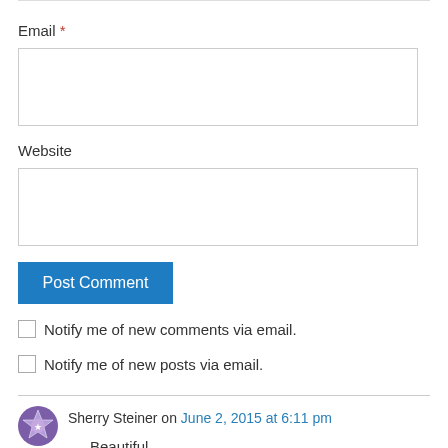Email *
Website
Post Comment
Notify me of new comments via email.
Notify me of new posts via email.
Sherry Steiner on June 2, 2015 at 6:11 pm
Beautiful